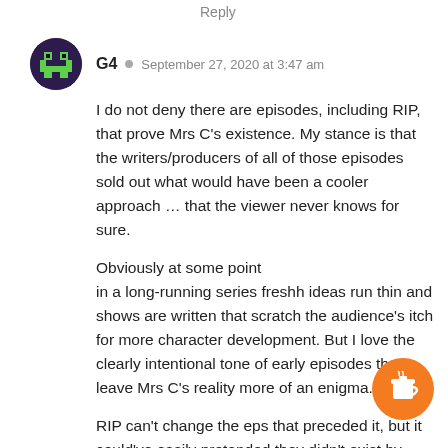Reply
G4  September 27, 2020 at 3:47 am
I do not deny there are episodes, including RIP, that prove Mrs C's existence. My stance is that the writers/producers of all of those episodes sold out what would have been a cooler approach … that the viewer never knows for sure.

Obviously at some point in a long-running series freshh ideas run thin and shows are written that scratch the audience's itch for more character development. But I love the clearly intentional tone of early episodes that leave Mrs C's reality more of an enigma.

RIP can't change the eps that preceded it, but it could've easily pretended they didn't exist by ending the ep without the phone call. Again, a signoff with some fellow cop asking the Lt. when he's ever going around to finally introducing him to Mrs C wou been wryly perfect.
[Figure (illustration): Orange circular coffee cup button/badge in bottom right corner]